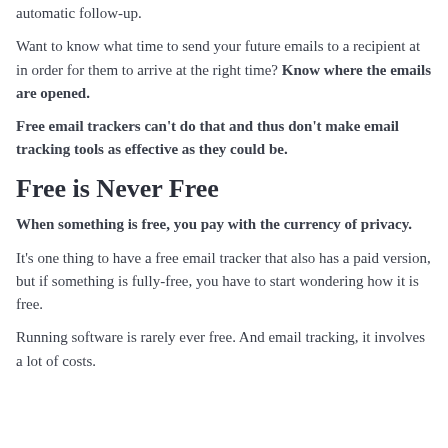automatic follow-up.
Want to know what time to send your future emails to a recipient at in order for them to arrive at the right time? Know where the emails are opened.
Free email trackers can't do that and thus don't make email tracking tools as effective as they could be.
Free is Never Free
When something is free, you pay with the currency of privacy.
It's one thing to have a free email tracker that also has a paid version, but if something is fully-free, you have to start wondering how it is free.
Running software is rarely ever free. And email tracking, it involves a lot of costs.